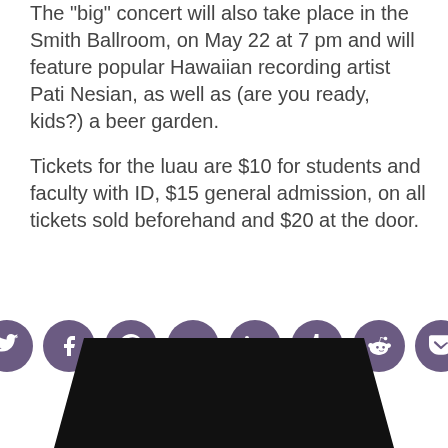The "big" concert will also take place in the Smith Ballroom, on May 22 at 7 pm and will feature popular Hawaiian recording artist Pati Nesian, as well as (are you ready, kids?) a beer garden.

Tickets for the luau are $10 for students and faculty with ID, $15 general admission, on all tickets sold beforehand and $20 at the door.
[Figure (other): Row of 8 social media sharing icon buttons (Twitter, Facebook, Pinterest, Google+, LinkedIn, Tumblr, Reddit, Pocket) as purple circles with white icons]
[Figure (photo): Bottom portion of a dark/black rounded rectangular shape, likely a sign or plaque, cropped at the bottom of the page]